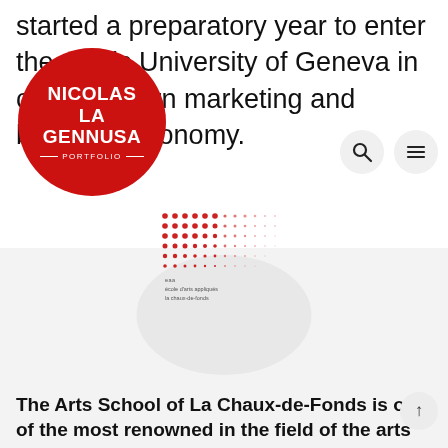started a preparatory year to enter the public University of Geneva in order to learn marketing and business economy.
[Figure (logo): Red circular logo with white text reading NICOLAS LA GENNUSA PORTFOLIO]
[Figure (logo): Dots grid pattern logo for eaa école d'arts appliqués la chaux-de-fonds]
The Arts School of La Chaux-de-Fonds is one of the most renowned in the field of the arts...